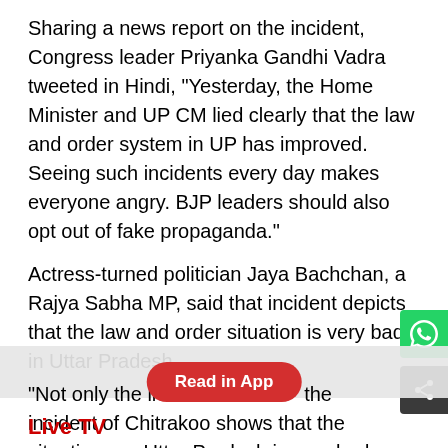Sharing a news report on the incident, Congress leader Priyanka Gandhi Vadra tweeted in Hindi, "Yesterday, the Home Minister and UP CM lied clearly that the law and order system in UP has improved. Seeing such incidents every day makes everyone angry. BJP leaders should also opt out of fake propaganda."
Actress-turned politician Jaya Bachchan, a Rajya Sabha MP, said that incident depicts that the law and order situation is very bad in Uttar Pradesh.
"Not only the incident of [hidden] the incident of Chitrakoo shows that the situation [hidden] Uttar Pradesh is very bad. The law and order situation is in a disarray. What can I say to the men? If you are standing in front of me, sometimes it seems that I will do something against you," she said.
Live TV